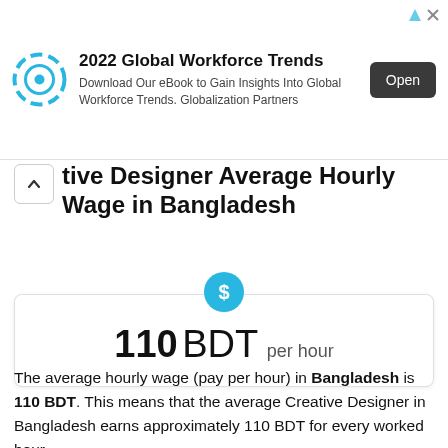[Figure (other): Advertisement banner: 2022 Global Workforce Trends. Download Our eBook to Gain Insights Into Global Workforce Trends. Globalization Partners. Open button.]
tive Designer Average Hourly Wage in Bangladesh
110 BDT per hour
The average hourly wage (pay per hour) in Bangladesh is 110 BDT. This means that the average Creative Designer in Bangladesh earns approximately 110 BDT for every worked hour.